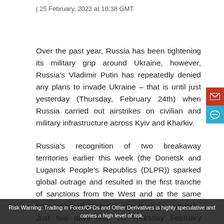| 25 February, 2022 at 10:38 GMT
Over the past year, Russia has been tightening its military grip around Ukraine, however, Russia's Vladimir Putin has repeatedly denied any plans to invade Ukraine – that is until just yesterday (Thursday, February 24th) when Russia carried out airstrikes on civilian and military infrastructure across Kyiv and Kharkiv.
Russia's recognition of two breakaway territories earlier this week (the Donetsk and Lugansk People's Republics (DLPR)) sparked global outrage and resulted in the first tranche of sanctions from the West and at the same time wreaked havoc in the financial markets. Just two days later on Thursday February... launched a full-
Risk Warning: Trading in Forex/CFDs and Other Derivatives is highly speculative and carries a high level of risk.